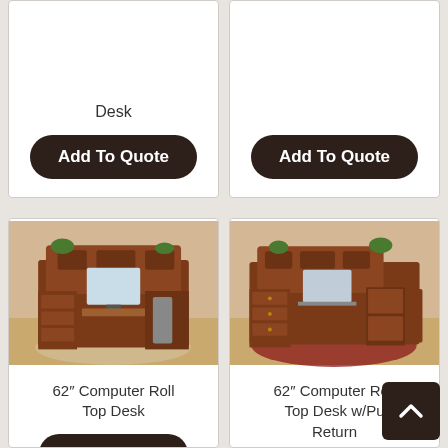Desk
Add To Quote
Add To Quote
[Figure (photo): 62 inch Computer Roll Top Desk with open cabinet showing computer tower and monitor]
62” Computer Roll Top Desk
Add To Quote
[Figure (photo): 62 inch Computer Roll Top Desk with Pull-Out Return, shown with laptop and open shelving]
62” Computer Roll Top Desk w/Pull-Out Return
Add To Quote